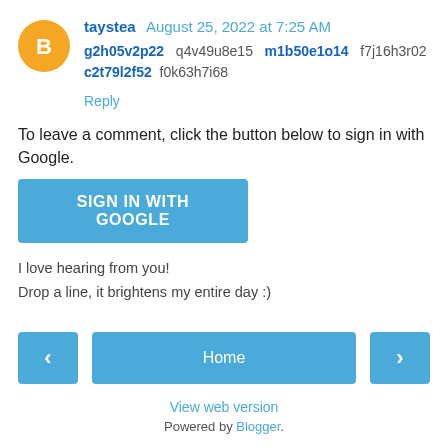taystea August 25, 2022 at 7:25 AM
g2h05v2p22 q4v49u8e15 m1b50e1o14 f7j16h3r02 c2t79l2f52 f0k63h7i68
Reply
To leave a comment, click the button below to sign in with Google.
SIGN IN WITH GOOGLE
I love hearing from you!
Drop a line, it brightens my entire day :)
‹
Home
›
View web version
Powered by Blogger.